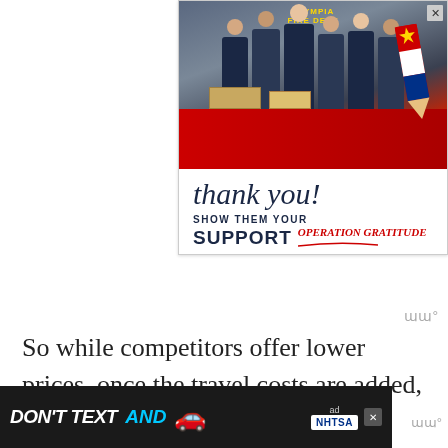[Figure (photo): Advertisement banner: Operation Gratitude - Show Them Your Support. Photo of firefighters from Olympia Fire Department posing in front of a fire truck. Features cursive 'thank you!' text and a red-white-blue pencil graphic. Close button (X) in top-right corner.]
So while competitors offer lower prices, once the travel costs are added, they are actually charging the same amount as CVS.
[Figure (infographic): Bottom banner advertisement: 'DON'T TEXT AND [car emoji]' with ad badge and NHTSA logo on dark background.]